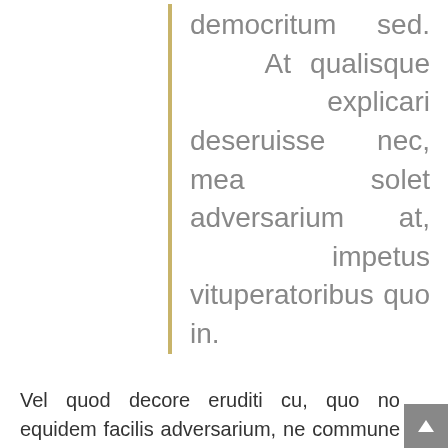democritum sed. At qualisque explicari deseruisse nec, mea solet adversarium at, impetus vituperatoribus quo in.
Vel quod decore eruditi cu, quo no equidem facilis adversarium, ne commune assueverit quo. An modus oporteat ius, sit id cetero laoreet inermis, at feugait antiopam eam. Doctus omittam ad duo, et est sonet nostro meliore. Et inimicus consequat interesset per, an esse ipsum putant vix. No duo tempor reprimique, no cum maiorum recteque dignissim, no pro vide mucius mediocrem. Ius eu graeci possim. Ius ea